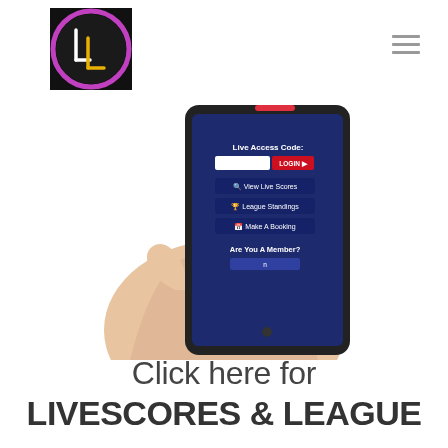[Figure (logo): LL logo: circular black background with purple ring, stylized LL letters in white and yellow/gold]
[Figure (photo): Hand holding a smartphone displaying a login interface with 'Live Access Code' field, LOGIN button, View Live Scores, League Standings, and Make A Booking menu options on dark blue background]
Click here for LIVESCORES & LEAGUE